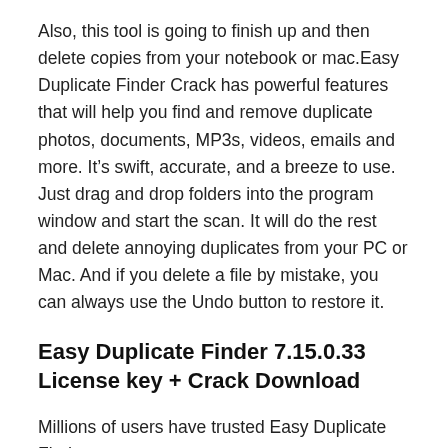Also, this tool is going to finish up and then delete copies from your notebook or mac.Easy Duplicate Finder Crack has powerful features that will help you find and remove duplicate photos, documents, MP3s, videos, emails and more. It's swift, accurate, and a breeze to use. Just drag and drop folders into the program window and start the scan. It will do the rest and delete annoying duplicates from your PC or Mac. And if you delete a file by mistake, you can always use the Undo button to restore it.
Easy Duplicate Finder 7.15.0.33 License key + Crack Download
Millions of users have trusted Easy Duplicate Finder